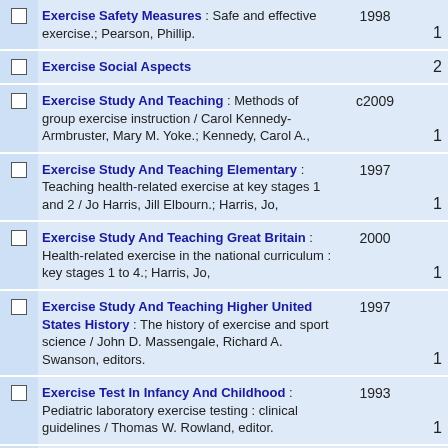Exercise Safety Measures : Safe and effective exercise.; Pearson, Phillip.
Exercise Social Aspects
Exercise Study And Teaching : Methods of group exercise instruction / Carol Kennedy-Armbruster, Mary M. Yoke.; Kennedy, Carol A.,
Exercise Study And Teaching Elementary : Teaching health-related exercise at key stages 1 and 2 / Jo Harris, Jill Elbourn.; Harris, Jo,
Exercise Study And Teaching Great Britain : Health-related exercise in the national curriculum : key stages 1 to 4.; Harris, Jo,
Exercise Study And Teaching Higher United States History : The history of exercise and sport science / John D. Massengale, Richard A. Swanson, editors.
Exercise Test In Infancy And Childhood : Pediatric laboratory exercise testing : clinical guidelines / Thomas W. Rowland, editor.
Exercise Test Methods : Pediatric laboratory exercise testing : clinical guidelines / Thomas W. Rowland, editor.
Exercise Tests